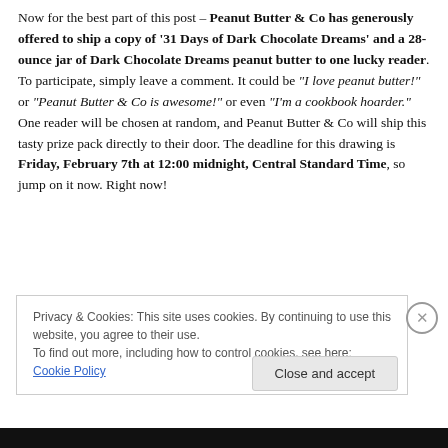Now for the best part of this post – Peanut Butter & Co has generously offered to ship a copy of '31 Days of Dark Chocolate Dreams' and a 28-ounce jar of Dark Chocolate Dreams peanut butter to one lucky reader. To participate, simply leave a comment. It could be "I love peanut butter!" or "Peanut Butter & Co is awesome!" or even "I'm a cookbook hoarder." One reader will be chosen at random, and Peanut Butter & Co will ship this tasty prize pack directly to their door. The deadline for this drawing is Friday, February 7th at 12:00 midnight, Central Standard Time, so jump on it now. Right now!
Privacy & Cookies: This site uses cookies. By continuing to use this website, you agree to their use. To find out more, including how to control cookies, see here: Cookie Policy
Close and accept